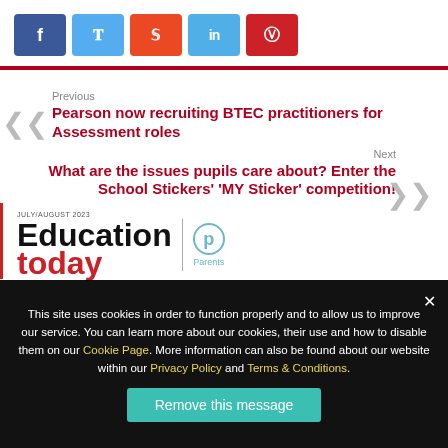[Figure (other): Social media share buttons: Facebook (blue), Twitter (light blue), StumbleUpon (orange-red), LinkedIn (light blue), Pinterest (red)]
Previous
Pearson now recruiting BTEC practitioners for Assessment roles
Next
What are the issues pupils care about? Enter the School Stickers' 'MY Sticker' competition!
[Figure (logo): Education Today magazine logo with Parents logo]
This site uses cookies in order to function properly and to allow us to improve our service. You can learn more about our cookies, their use and how to disable them on our Cookie Page. More information can also be found about our website within our Privacy Policy and Terms & Conditions.